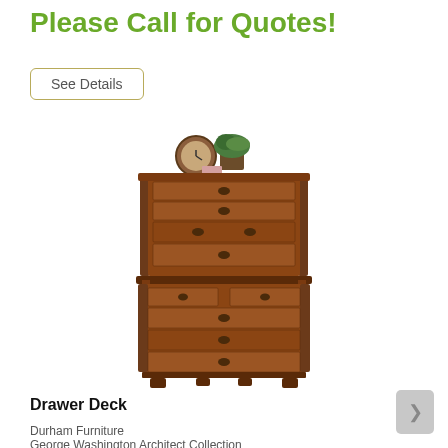Please Call for Quotes!
See Details
[Figure (photo): A tall wooden chest of drawers (drawer deck) with dark cherry/mahogany finish, multiple drawers with brass ring pulls, decorative columns on sides. A round clock and potted plant are displayed on top.]
Drawer Deck
Durham Furniture
George Washington Architect Collection